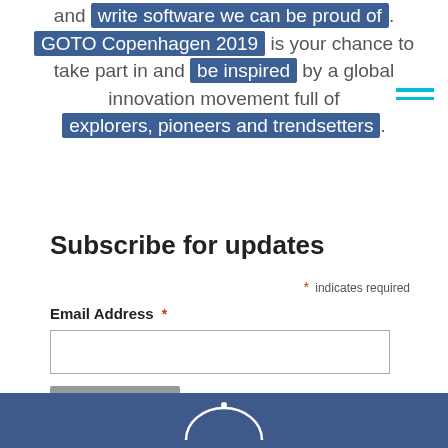and write software we can be proud of. GOTO Copenhagen 2019 is your chance to take part in and be inspired by a global innovation movement full of explorers, pioneers and trendsetters.
Subscribe for updates
* indicates required
Email Address *
[Figure (other): Dark blue footer bar with a white arc/logo graphic]